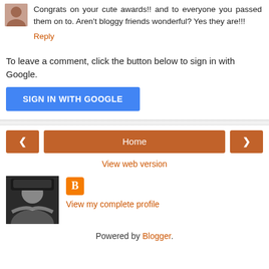Congrats on your cute awards!! and to everyone you passed them on to. Aren't bloggy friends wonderful? Yes they are!!!
Reply
To leave a comment, click the button below to sign in with Google.
SIGN IN WITH GOOGLE
[Figure (other): Navigation bar with left arrow, Home button, and right arrow in orange/brown color]
View web version
[Figure (photo): Profile photo of a woman with a hat and feather boa]
View my complete profile
Powered by Blogger.